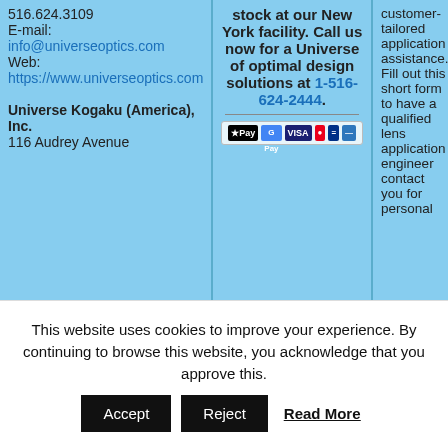516.624.3109 E-mail: info@universeoptics.com Web: https://www.universeoptics.com Universe Kogaku (America), Inc. 116 Audrey Avenue
stock at our New York facility. Call us now for a Universe of optimal design solutions at 1-516-624-2444.
customer-tailored application assistance. Fill out this short form to have a qualified lens application engineer contact you for personal
This website uses cookies to improve your experience. By continuing to browse this website, you acknowledge that you approve this.